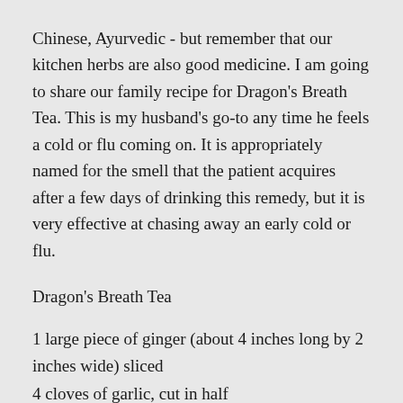Chinese, Ayurvedic - but remember that our kitchen herbs are also good medicine. I am going to share our family recipe for Dragon's Breath Tea. This is my husband's go-to any time he feels a cold or flu coming on. It is appropriately named for the smell that the patient acquires after a few days of drinking this remedy, but it is very effective at chasing away an early cold or flu.
Dragon's Breath Tea
1 large piece of ginger (about 4 inches long by 2 inches wide) sliced
4 cloves of garlic, cut in half
6 cups of water